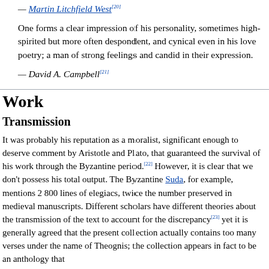— Martin Litchfield West[20]
One forms a clear impression of his personality, sometimes high-spirited but more often despondent, and cynical even in his love poetry; a man of strong feelings and candid in their expression.
— David A. Campbell[21]
Work
Transmission
It was probably his reputation as a moralist, significant enough to deserve comment by Aristotle and Plato, that guaranteed the survival of his work through the Byzantine period.[22] However, it is clear that we don't possess his total output. The Byzantine Suda, for example, mentions 2 800 lines of elegiacs, twice the number preserved in medieval manuscripts. Different scholars have different theories about the transmission of the text to account for the discrepancy[23] yet it is generally agreed that the present collection actually contains too many verses under the name of Theognis; the collection appears in fact to be an anthology that